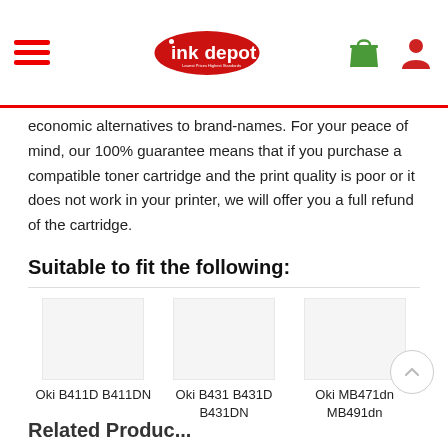ink depot
economic alternatives to brand-names. For your peace of mind, our 100% guarantee means that if you purchase a compatible toner cartridge and the print quality is poor or it does not work in your printer, we will offer you a full refund of the cartridge.
Suitable to fit the following:
Oki B411D B411DN | Oki B431 B431D B431DN | Oki MB471dn MB491dn
Related Products